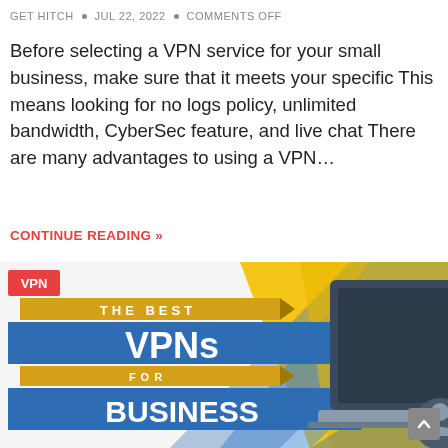GET HITCH • JUL 22, 2022 • COMMENTS OFF
Before selecting a VPN service for your small business, make sure that it meets your specific This means looking for no logs policy, unlimited bandwidth, CyberSec feature, and live chat There are many advantages to using a VPN…
CONTINUE READING »
[Figure (illustration): Illustration of 'The Best VPNs for Business' featuring blue ribbon banners with bold white text, a VPN tag in red, a laptop with a gold shield displaying VPN text, a user icon, and yellow diagonal stripe background.]